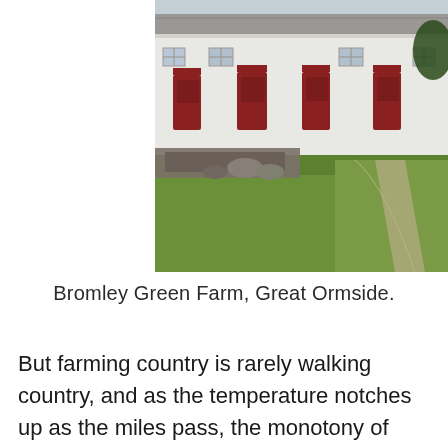[Figure (photo): A whitewashed farm building with red doors and windows, green lawn in foreground with stone garden feature, gravel path, and trees in background. Bromley Green Farm, Great Ormside.]
Bromley Green Farm, Great Ormside.
But farming country is rarely walking country, and as the temperature notches up as the miles pass, the monotony of meadows bites. Where the grass is long, the going is arduous, and while some paths are well-walked, plenty are not, requiring studious navigation and involving more than a few mis-steps. And I never like the gnawing anxiety of approaching an